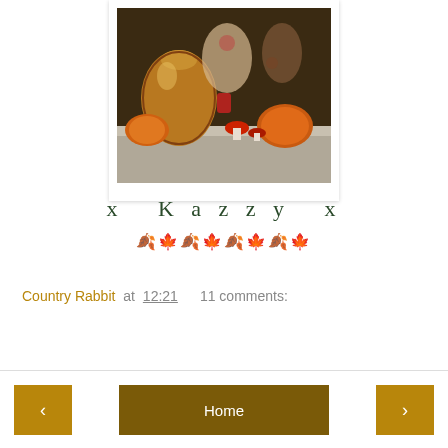[Figure (photo): A dark-toned photograph showing decorative items on a shelf: a large brown pottery vase, pumpkins, mushrooms, and illustrated characters including birds and animals with autumn/Halloween theming.]
x  K a z z y  x
🍂🍁🍂🍁🍂🍁🍂🍁
Country Rabbit at 12:21     11 comments:
Share
Home